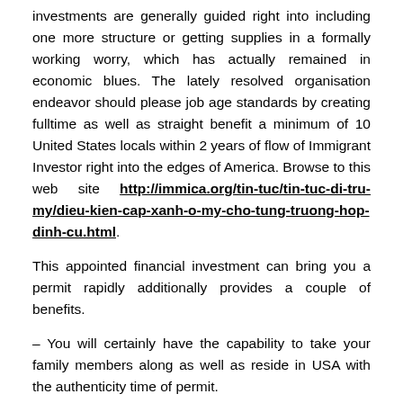investments are generally guided right into including one more structure or getting supplies in a formally working worry, which has actually remained in economic blues. The lately resolved organisation endeavor should please job age standards by creating fulltime as well as straight benefit a minimum of 10 United States locals within 2 years of flow of Immigrant Investor right into the edges of America. Browse to this web site http://immica.org/tin-tuc/tin-tuc-di-tru-my/dieu-kien-cap-xanh-o-my-cho-tung-truong-hop-dinh-cu.html.
This appointed financial investment can bring you a permit rapidly additionally provides a couple of benefits.
– You will certainly have the capability to take your family members along as well as reside in USA with the authenticity time of permit.
– You are relieved from handling your financial investment or organization on day-to-day property.